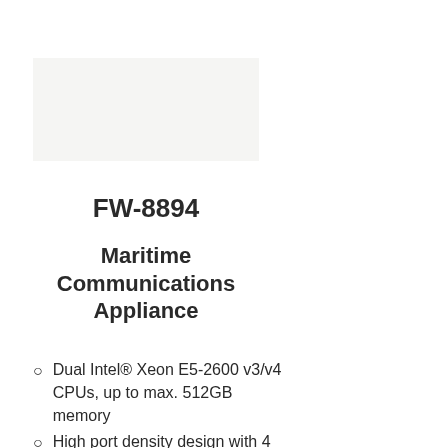[Figure (photo): Product image placeholder for FW-8894 Maritime Communications Appliance]
FW-8894
Maritime Communications Appliance
Dual Intel® Xeon E5-2600 v3/v4 CPUs, up to max. 512GB memory
High port density design with 4 NIC